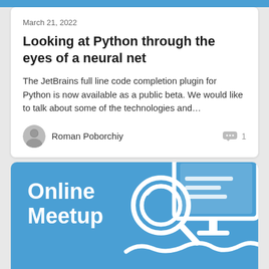March 21, 2022
Looking at Python through the eyes of a neural net
The JetBrains full line code completion plugin for Python is now available as a public beta. We would like to talk about some of the technologies and…
Roman Poborchiy
1
[Figure (illustration): Blue promotional card showing 'Online Meetup' text with a white icon of a magnifying glass and monitor on a blue background]